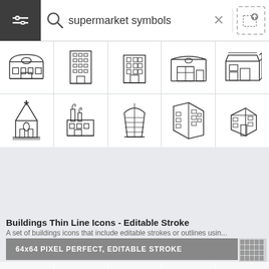[Figure (screenshot): Search bar with filter icon on dark background, magnifying glass, 'supermarket symbols' query text, X close button, and upload image button]
[Figure (illustration): Grid of 10 building thin line icons in 5-column layout: supermarket, office tower, apartment building, warehouse with garage door, small commercial building (row 1); church with steeple, factory with smoke, modern glass tower, isometric skyscraper, isometric warehouse cluster (row 2)]
Buildings Thin Line Icons - Editable Stroke
A set of buildings icons that include editable strokes or outlines usin...
[Figure (infographic): Gray banner reading '64x64 PIXEL PERFECT, EDITABLE STROKE' with small icon grid on right side]
[Figure (illustration): Delivery icons grid: courier with box, door delivery, bicycle courier, scooter delivery, delivery van (row 1); seated courier, clipboard checklist, grocery basket, shipping box, door with bags (row 2 partial)]